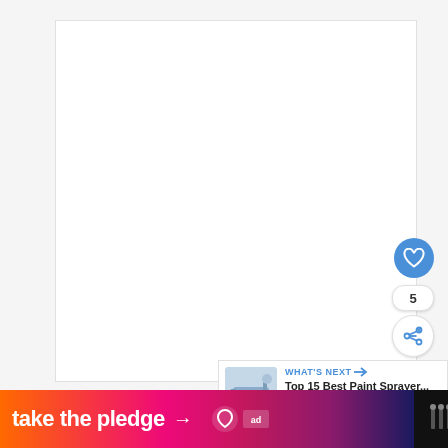[Figure (screenshot): White content panel area on light gray background — main article/document area, mostly blank/white]
[Figure (infographic): Blue heart/like button (circle), like count showing '5', and share button (circle with share icon) — social interaction buttons on right side]
[Figure (screenshot): What's Next panel: thumbnail image of paint sprayer, label 'WHAT'S NEXT →', title 'Top 15 Best Paint Sprayer...', blue progress bar]
[Figure (infographic): Bottom advertisement banner: orange-pink-purple gradient with white bold text 'take the pledge' and right arrow, Release logo with heart icon and 'ad' badge, dark right section with brand mark]